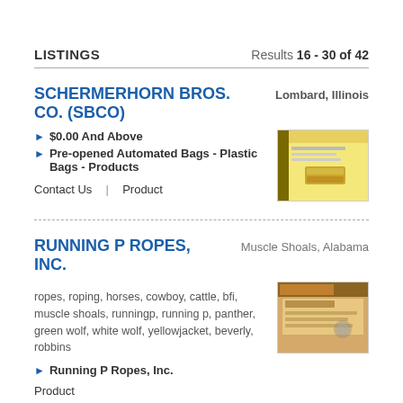LISTINGS    Results 16 - 30 of 42
SCHERMERHORN BROS. CO. (SBCO)   Lombard, Illinois
$0.00 And Above
Pre-opened Automated Bags - Plastic Bags - Products
Contact Us  |  Product
RUNNING P ROPES, INC.   Muscle Shoals, Alabama
ropes, roping, horses, cowboy, cattle, bfi, muscle shoals, runningp, running p, panther, green wolf, white wolf, yellowjacket, beverly, robbins
Running P Ropes, Inc.
Product